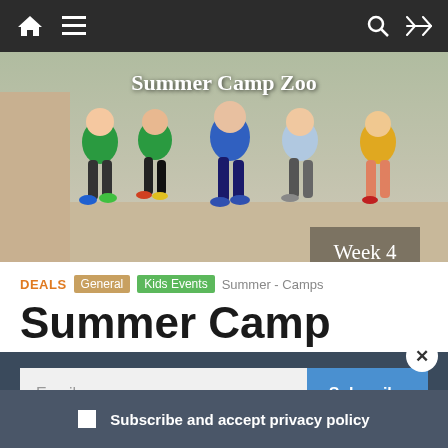Navigation bar with home, menu, search, and shuffle icons
[Figure (photo): Hero image showing children running with text overlay 'Summer Camp Zoo' and 'Week 4']
DEALS  General  Kids Events  Summer - Camps
Summer Camp Zoo: Week 4
Email  Subscribe
Subscribe and accept privacy policy